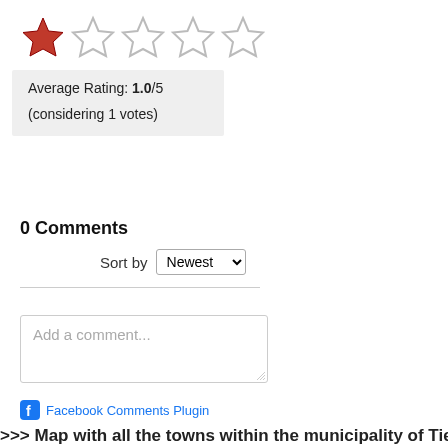[Figure (other): Star rating display showing 1 filled red star and 4 empty stars]
Average Rating: 1.0/5
(considering 1 votes)
0 Comments
Sort by Newest
Add a comment...
Facebook Comments Plugin
>>> Map with all the towns within the municipality of Tierra